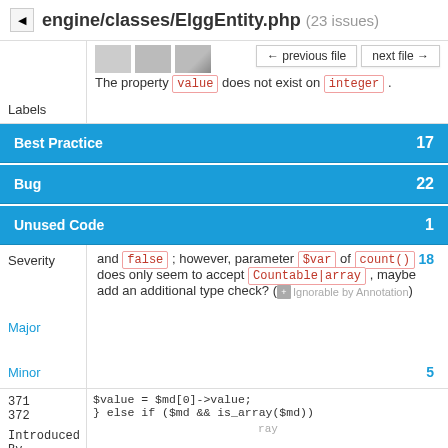engine/classes/ElggEntity.php (23 issues)
[Figure (screenshot): Screenshot thumbnail row with navigation buttons 'previous file' and 'next file', and error message: The property value does not exist on integer.]
Labels
Best Practice 17
Bug 22
Unused Code 1
and false ; however, parameter $var of count() does only seem to accept Countable|array , maybe add an additional type check? ( + Ignorable by Annotation )
Severity
Major
18
Minor
5
371
372
Introduced By
$value = $md[0]->value;
} else if ($md && is_array($md))
Brett Profitt 12